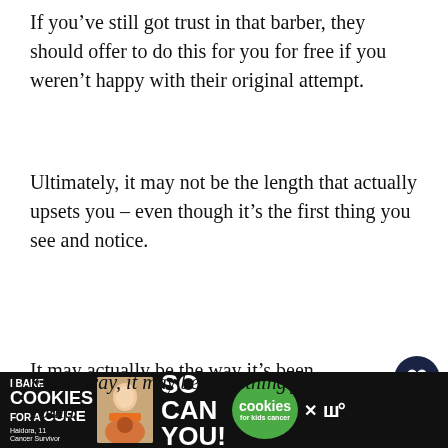If you’ve still got trust in that barber, they should offer to do this for you for free if you weren’t happy with their original attempt.
Ultimately, it may not be the length that actually upsets you – even though it’s the first thing you see and notice.
It may actually be the way it’s been trimmed. Perhaps the neckline or cheek lines aren’t quite right. Or perhaps it’s all just uneven.
Either way, it may be something your barber could f...
[Figure (screenshot): Cookie fundraising advertisement banner at bottom of page with text 'I Bake COOKIES For A CURE' and 'So can you!' with a photo of a child and cookies badge]
[Figure (infographic): Heart (save) button and share button floating on right side, plus a 'What's Next' widget showing The 16mm Haircut]